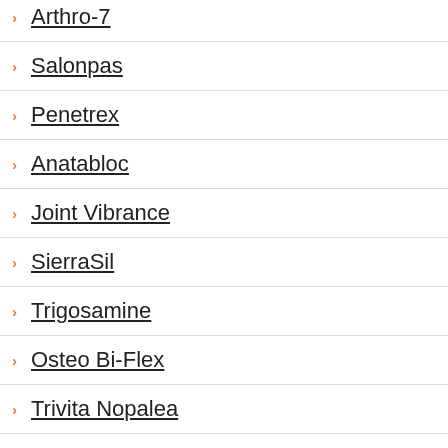Arthro-7
Salonpas
Penetrex
Anatabloc
Joint Vibrance
SierraSil
Trigosamine
Osteo Bi-Flex
Trivita Nopalea
FlexNow